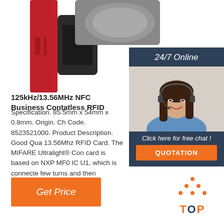[Figure (photo): Partial view of a red and black RFID wristband/card product against white background]
[Figure (photo): Customer service woman wearing headset, smiling, with 24/7 Online banner and chat/quotation call-to-action panel]
125kHz/13.56MHz NFC Business Contatless RFID
Specification. 85.5mm x 54mm x 0.8mm. Origin. Ch Code. 8523521000. Product Description. Good Qua 13.56Mhz RFID Card. The MIFARE Ultralight® Con card is based on NXP MF0 IC U1, which is connecte few turns and then embedded into plastic.
Get Price
[Figure (logo): TOP logo with orange dots forming a triangle above the word TOP in orange and blue letters]